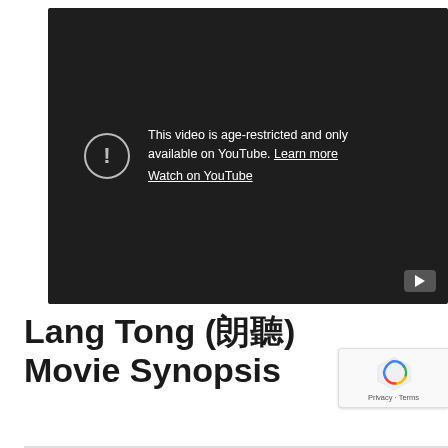[Figure (screenshot): YouTube video player showing age-restricted content message on dark background. Message reads: 'This video is age-restricted and only available on YouTube. Learn more' with a 'Watch on YouTube' link below. A YouTube play button icon is visible in bottom-right corner. An exclamation mark in a circle icon appears to the left of the text.]
Lang Tong (狼党) Movie Synopsis